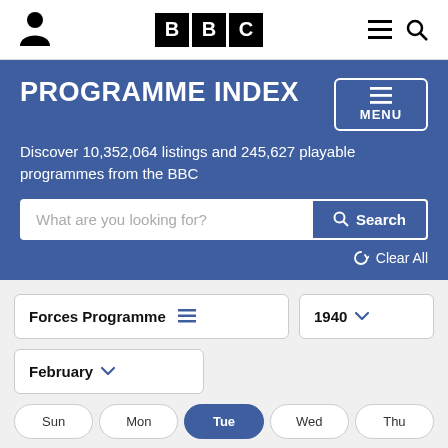BBC Programme Index
PROGRAMME INDEX
Discover 10,352,064 listings and 245,627 playable programmes from the BBC
What are you looking for? Search
Clear All
Forces Programme  1940
February
Sun  Mon  Tue  Wed  Thu